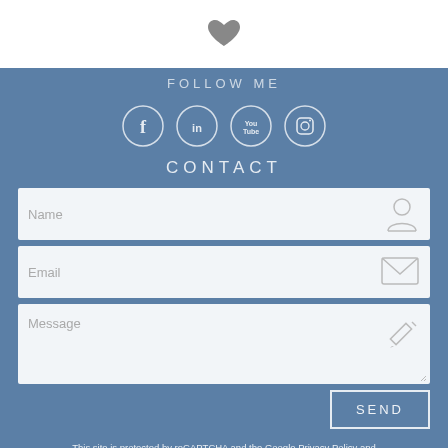[Figure (illustration): Dark gray heart icon centered on white background]
FOLLOW ME
[Figure (illustration): Four social media icons in white circles: Facebook, LinkedIn, YouTube, Instagram]
CONTACT
[Figure (infographic): Contact form with Name field (person icon), Email field (envelope icon), Message textarea (pencil icon), and SEND button]
This site is protected by reCAPTCHA and the Google Privacy Policy and Terms of Service apply.